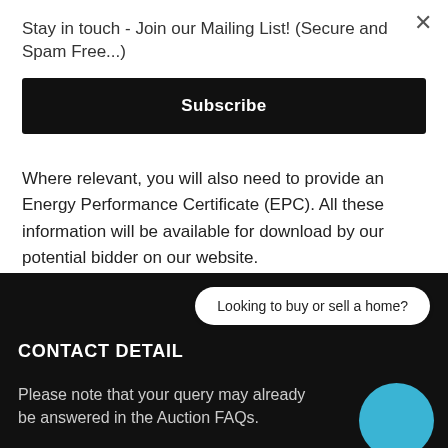Stay in touch - Join our Mailing List! (Secure and Spam Free...)
Subscribe
Where relevant, you will also need to provide an Energy Performance Certificate (EPC). All these information will be available for download by our potential bidder on our website.
Looking to buy or sell a home?
CONTACT DETAIL
Please note that your query may already be answered in the Auction FAQs.